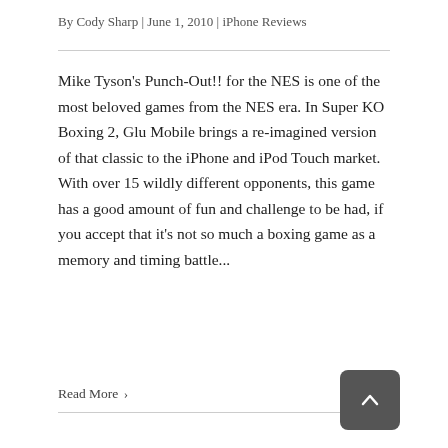By Cody Sharp | June 1, 2010 | iPhone Reviews
Mike Tyson's Punch-Out!! for the NES is one of the most beloved games from the NES era. In Super KO Boxing 2, Glu Mobile brings a re-imagined version of that classic to the iPhone and iPod Touch market. With over 15 wildly different opponents, this game has a good amount of fun and challenge to be had, if you accept that it's not so much a boxing game as a memory and timing battle...
Read More ›
1